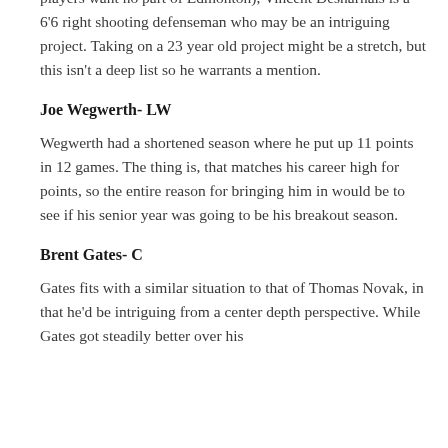the Oilers aren't signing their own players (presumably the players want no part of Edmonton), Vincent Desharnais is a 6'6 right shooting defenseman who may be an intriguing project. Taking on a 23 year old project might be a stretch, but this isn't a deep list so he warrants a mention.
Joe Wegwerth- LW
Wegwerth had a shortened season where he put up 11 points in 12 games. The thing is, that matches his career high for points, so the entire reason for bringing him in would be to see if his senior year was going to be his breakout season.
Brent Gates- C
Gates fits with a similar situation to that of Thomas Novak, in that he'd be intriguing from a center depth perspective. While Gates got steadily better over his